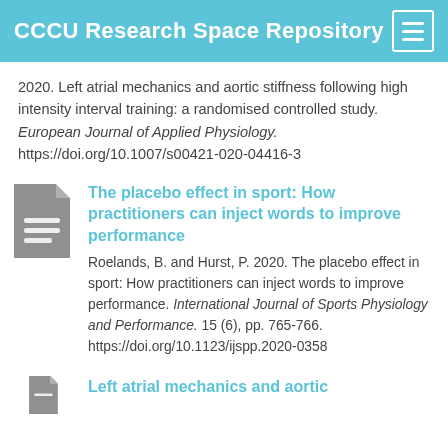CCCU Research Space Repository
2020. Left atrial mechanics and aortic stiffness following high intensity interval training: a randomised controlled study. European Journal of Applied Physiology. https://doi.org/10.1007/s00421-020-04416-3
[Figure (illustration): Grey document icon]
The placebo effect in sport: How practitioners can inject words to improve performance
Roelands, B. and Hurst, P. 2020. The placebo effect in sport: How practitioners can inject words to improve performance. International Journal of Sports Physiology and Performance. 15 (6), pp. 765-766. https://doi.org/10.1123/ijspp.2020-0358
[Figure (illustration): Grey document icon (partial, bottom of page)]
Left atrial mechanics and aortic